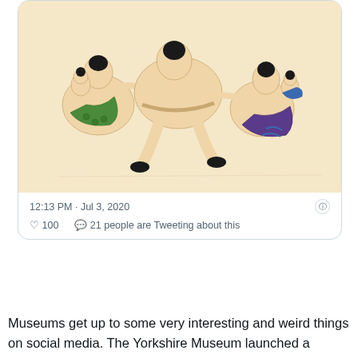[Figure (screenshot): Screenshot of a tweet showing Japanese artwork of sumo-style wrestling figures, with timestamp '12:13 PM · Jul 3, 2020', heart count 100, and '21 people are Tweeting about this']
Museums get up to some very interesting and weird things on social media. The Yorkshire Museum launched a worldwide battle between curators on June 26 to see which museum has the very best behind (or derrière if you want to sound all fancy) in its collection. The Yorkshire Museum started the challenge off with a photo of a Roman marble statuette of an athlete who has a chunk missing from his bum.
Plenty of other museums took up the challenge and posted their own works of art. Lee Clark, the York Museums Trust communications manager told Bored Panda that the challenge is still ongoing and the winner still hasn't been